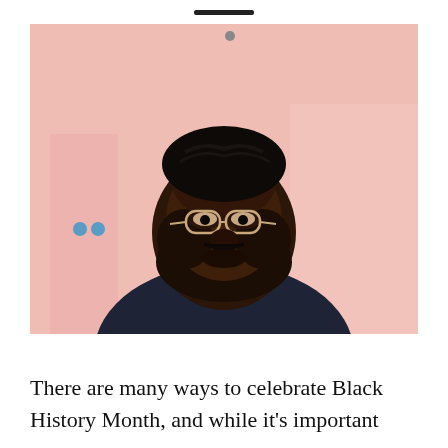[Figure (photo): Portrait photo of a Black man with braided hair, round clear-framed glasses, and a full beard, wearing a dark navy crew-neck sweatshirt. The background is a soft pink/blush tone with a door or panel visible behind him. Two small blue circular stickers are visible on the door in the background.]
There are many ways to celebrate Black History Month, and while it's important